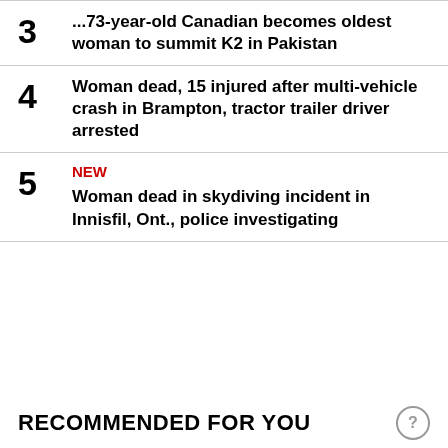3 ... 73-year-old Canadian becomes oldest woman to summit K2 in Pakistan
4 Woman dead, 15 injured after multi-vehicle crash in Brampton, tractor trailer driver arrested
5 NEW Woman dead in skydiving incident in Innisfil, Ont., police investigating
RECOMMENDED FOR YOU